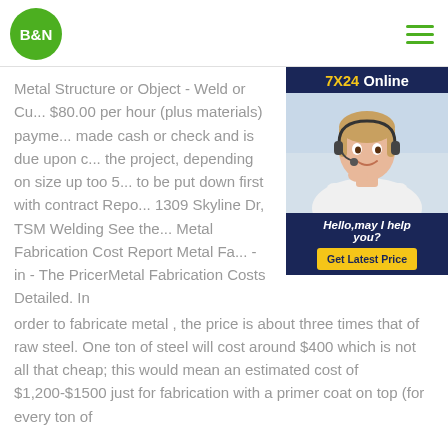B&N
[Figure (illustration): 7X24 Online customer service widget with photo of smiling woman with headset, 'Hello, may I help you?' text, and 'Get Latest Price' yellow button]
Metal Structure or Object - Weld or Cu... $80.00 per hour (plus materials) payme... made cash or check and is due upon c... the project, depending on size up too 5... to be put down first with contract Repo... 1309 Skyline Dr, TSM Welding See the... Metal Fabrication Cost Report Metal Fa... - in - The PricerMetal Fabrication Costs Detailed. In order to fabricate metal , the price is about three times that of raw steel. One ton of steel will cost around $400 which is not all that cheap; this would mean an estimated cost of $1,200-$1500 just for fabrication with a primer coat on top (for every ton of